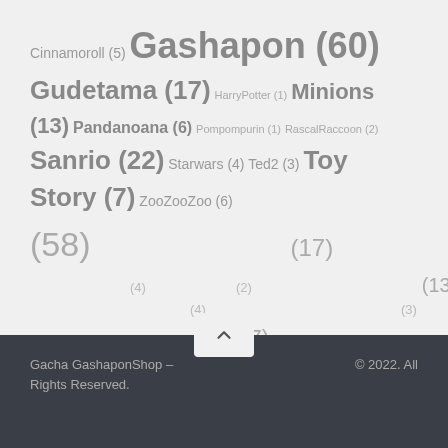Cinnamoroll (5) Gashapon (60) Gudetama (17) HarryPotter (1) Minions (13) Pandanoana (6) Pompompurin (1) RascalRaccoon (2) Sanrio (22) Starwars (4) Ted2 (3) Toy Story (7) ZooZooZoo (6) (58) (17) (4) (2) (13) (4) (3) (17)
Gacha GashaponShop – Rights Reserved. © 2022. All